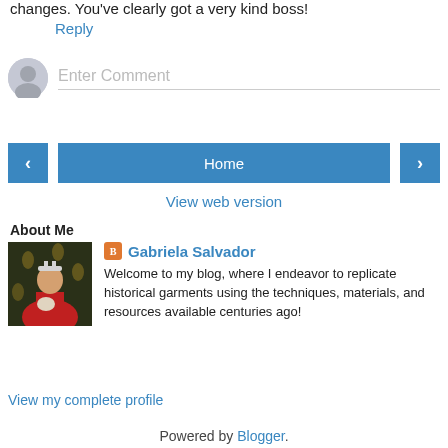changes. You've clearly got a very kind boss!
Reply
[Figure (other): Comment input field with grey avatar icon and 'Enter Comment' placeholder text]
[Figure (other): Navigation buttons: left arrow, Home button, right arrow]
View web version
About Me
[Figure (photo): Profile photo of Gabriela Salvador wearing a red cape and crown, holding a small dog, in front of a dark floral wallpaper background]
Gabriela Salvador
Welcome to my blog, where I endeavor to replicate historical garments using the techniques, materials, and resources available centuries ago!
View my complete profile
Powered by Blogger.